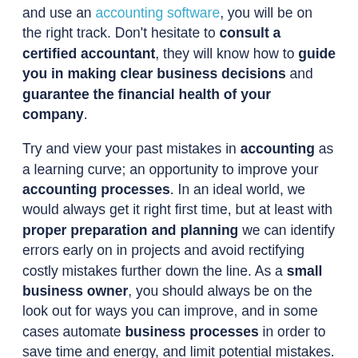and use an accounting software, you will be on the right track. Don't hesitate to consult a certified accountant, they will know how to guide you in making clear business decisions and guarantee the financial health of your company.
Try and view your past mistakes in accounting as a learning curve; an opportunity to improve your accounting processes. In an ideal world, we would always get it right first time, but at least with proper preparation and planning we can identify errors early on in projects and avoid rectifying costly mistakes further down the line. As a small business owner, you should always be on the look out for ways you can improve, and in some cases automate business processes in order to save time and energy, and limit potential mistakes.